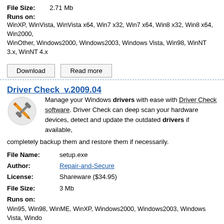File Size: 2.71 Mb
Runs on: WinXP, WinVista, WinVista x64, Win7 x32, Win7 x64, Win8 x32, Win8 x64, Win2000, WinOther, Windows2000, Windows2003, Windows Vista, Win98, WinNT 3.x, WinNT 4.x
Download | Read more
Driver Check  v.2009.04
Manage your Windows drivers with ease with Driver Check software. Driver Check can deep scan your hardware devices, detect and update the outdated drivers if available, completely backup them and restore them if necessarily.
File Name: setup.exe
Author: Repair-and-Secure
License: Shareware ($34.95)
File Size: 3 Mb
Runs on: Win95, Win98, WinME, WinXP, Windows2000, Windows2003, Windows Vista, Windo
Download | Read more